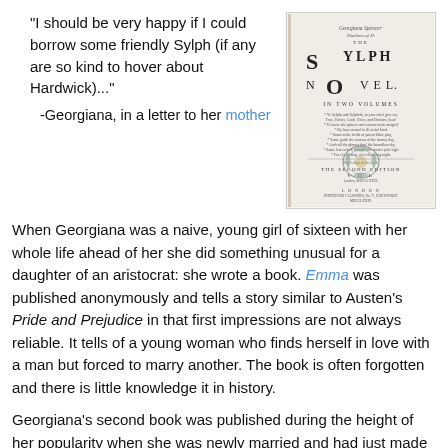"I should be very happy if I could borrow some friendly Sylph (if any are so kind to hover about Hardwick)..."
[Figure (photo): Old book title page with decorative elements, titled 'Sylph, A Novel, In Two Volumes, The Second Edition, Vol I', published in London]
-Georgiana, in a letter to her mother
When Georgiana was a naive, young girl of sixteen with her whole life ahead of her she did something unusual for a daughter of an aristocrat: she wrote a book. Emma was published anonymously and tells a story similar to Austen's Pride and Prejudice in that first impressions are not always reliable. It tells of a young woman who finds herself in love with a man but forced to marry another. The book is often forgotten and there is little knowledge it in history.
Georgiana's second book was published during the height of her popularity when she was newly married and had just made her name for herself as a fashion icon (think: Victoria Beckham when she was a newlywed). Again, she published